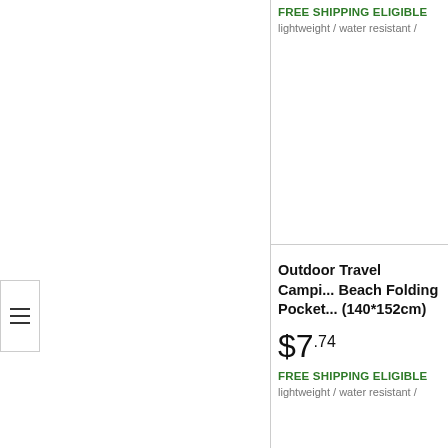FREE SHIPPING ELIGIBLE
lightweight / water resistant /
[Figure (other): Hamburger menu icon with three horizontal lines]
Outdoor Travel Camping Beach Folding Pocket (140*152cm)
$7.74
FREE SHIPPING ELIGIBLE
lightweight / water resistant /